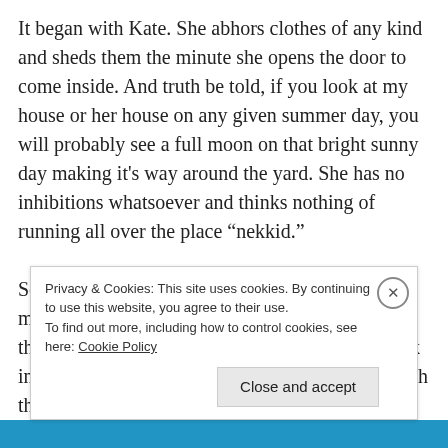It began with Kate.  She abhors clothes of any kind and sheds them the minute she opens the door to come inside.  And truth be told, if you look at my house or her house on any given summer day, you will probably see a full moon on that bright sunny day making it’s way around the yard.  She has no inhibitions whatsoever and thinks nothing of running all over the place “nekkid.”

So now Ava is following in her footsteps.  The minute they both set foot inside my kitchen door they begin stripping and are bare before they walk into the living room.  Amazing!  I am trying to teach them that nobody
Privacy & Cookies: This site uses cookies. By continuing to use this website, you agree to their use.
To find out more, including how to control cookies, see here: Cookie Policy

Close and accept